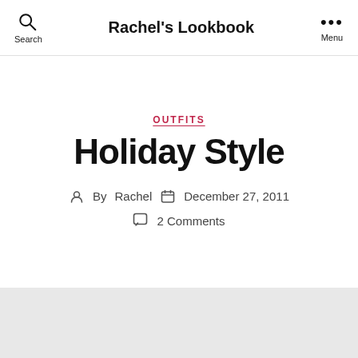Rachel's Lookbook
OUTFITS
Holiday Style
By Rachel   December 27, 2011
2 Comments